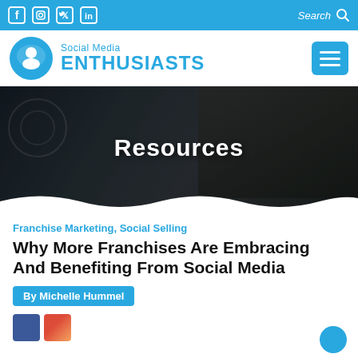Social Media Enthusiasts – top navigation bar with social icons (Facebook, Instagram, Twitter, LinkedIn) and Search
[Figure (logo): Social Media Enthusiasts logo: blue circle with user icon, text 'Social Media ENTHUSIASTS' in blue]
[Figure (photo): Hero banner showing dark background with a person typing on a laptop, with 'Resources' text in white overlay and wave bottom]
Franchise Marketing, Social Selling
Why More Franchises Are Embracing And Benefiting From Social Media
By Michelle Hummel